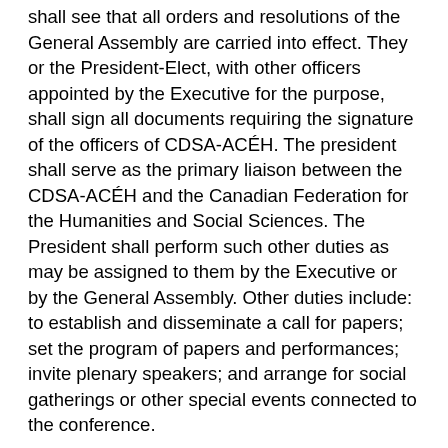shall see that all orders and resolutions of the General Assembly are carried into effect. They or the President-Elect, with other officers appointed by the Executive for the purpose, shall sign all documents requiring the signature of the officers of CDSA-ACÉH. The president shall serve as the primary liaison between the CDSA-ACÉH and the Canadian Federation for the Humanities and Social Sciences. The President shall perform such other duties as may be assigned to them by the Executive or by the General Assembly. Other duties include: to establish and disseminate a call for papers; set the program of papers and performances; invite plenary speakers; and arrange for social gatherings or other special events connected to the conference.
President Elect  1 Year Term
The President-Elect shall, in the absence or incapacitation of the President, perform the duties and exercise the powers of the President and shall perform such other